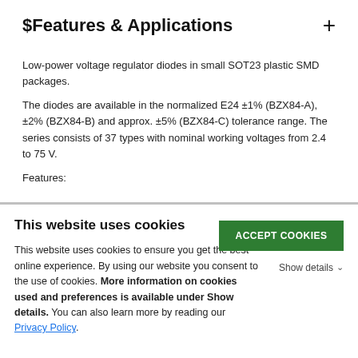$Features & Applications
Low-power voltage regulator diodes in small SOT23 plastic SMD packages.
The diodes are available in the normalized E24 ±1% (BZX84-A), ±2% (BZX84-B) and approx. ±5% (BZX84-C) tolerance range. The series consists of 37 types with nominal working voltages from 2.4 to 75 V.
Features:
This website uses cookies
This website uses cookies to ensure you get the best online experience. By using our website you consent to the use of cookies. More information on cookies used and preferences is available under Show details. You can also learn more by reading our Privacy Policy.